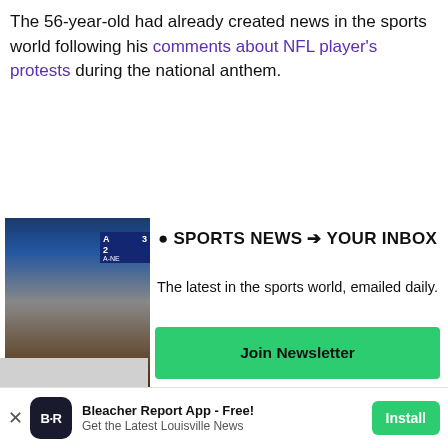The 56-year-old had already created news in the sports world following his comments about NFL player's protests during the national anthem.
[Figure (screenshot): Video thumbnail of a baseball game with scorebug showing team scores, blue 'Op' label, and 'Watch' bar at the bottom]
🏈 SPORTS NEWS ➡ YOUR INBOX
The latest in the sports world, emailed daily.
Join Newsletter
Maybe Later
Bleacher Report App - Free!
Get the Latest Louisville News